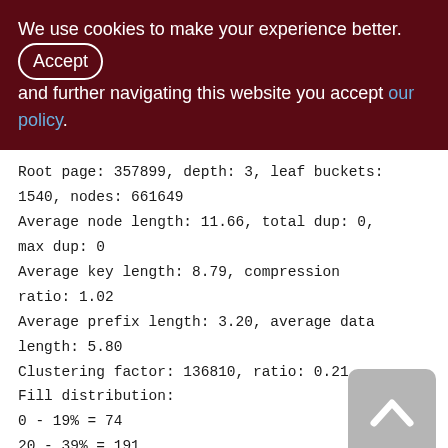We use cookies to make your experience better. By accepting and further navigating this website you accept our policy.
Root page: 357899, depth: 3, leaf buckets: 1540, nodes: 661649
Average node length: 11.66, total dup: 0, max dup: 0
Average key length: 8.79, compression ratio: 1.02
Average prefix length: 3.20, average data length: 5.80
Clustering factor: 136810, ratio: 0.21
Fill distribution:
0 - 19% = 74
20 - 39% = 191